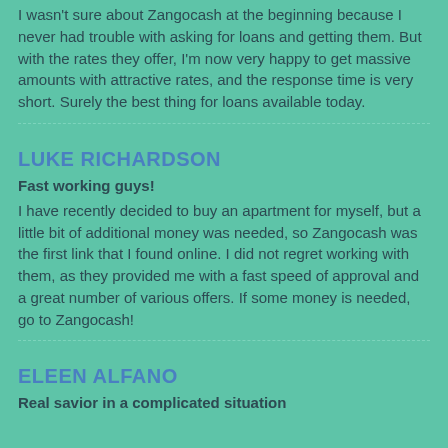I wasn't sure about Zangocash at the beginning because I never had trouble with asking for loans and getting them. But with the rates they offer, I'm now very happy to get massive amounts with attractive rates, and the response time is very short. Surely the best thing for loans available today.
LUKE RICHARDSON
Fast working guys!
I have recently decided to buy an apartment for myself, but a little bit of additional money was needed, so Zangocash was the first link that I found online. I did not regret working with them, as they provided me with a fast speed of approval and a great number of various offers. If some money is needed, go to Zangocash!
ELEEN ALFANO
Real savior in a complicated situation